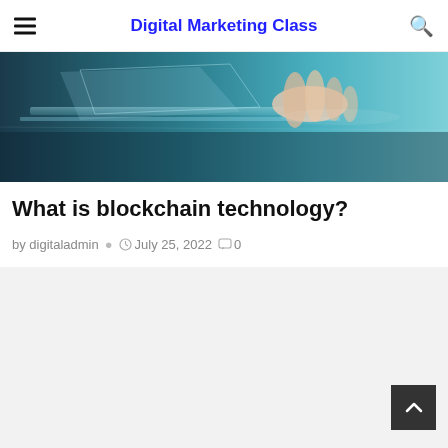Digital Marketing Class
[Figure (photo): Close-up of a person's hand touching or interacting with a glass/digital surface, with blue-teal toned technology background]
What is blockchain technology?
by digitaladmin  July 25, 2022  0
[Figure (other): Light gray content area placeholder (advertisement or embedded content area)]